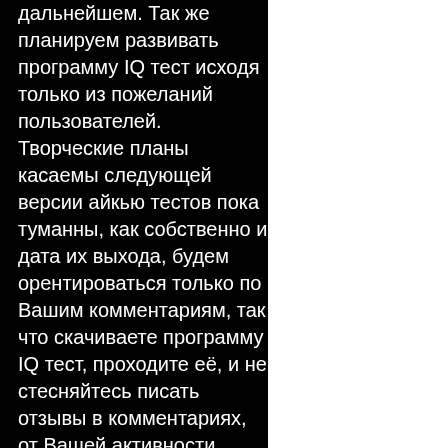дальнейшем. Так же планируем развивать программу IQ тест исходя только из пожеланий пользователей. Творческие планы касаемы следующей версии айкью тестов пока туманны, как собственно и дата их выхода, будем орентироваться только по Вашим комментариям, так что скачиваете программу IQ тест, проходите её, и не стесняйтесь писать отзывы в комментариях, от Вашей активности зависит дальнейшая судьба проекта. Удачной Вам жизни и высокого IQ. Пятеро студентов